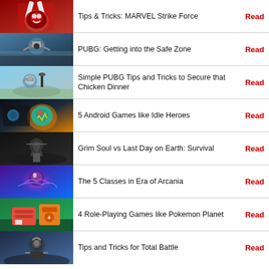Tips & Tricks: MARVEL Strike Force | Read
PUBG: Getting into the Safe Zone | Read
Simple PUBG Tips and Tricks to Secure that Chicken Dinner | Read
5 Android Games like Idle Heroes | Read
Grim Soul vs Last Day on Earth: Survival | Read
The 5 Classes in Era of Arcania | Read
4 Role-Playing Games like Pokemon Planet | Read
Tips and Tricks for Total Battle | Read